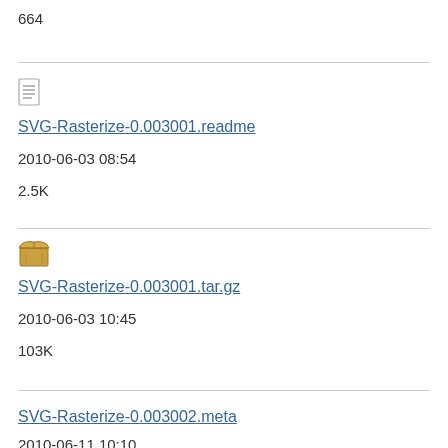664
[Figure (illustration): Text file icon (lines on a page)]
SVG-Rasterize-0.003001.readme
2010-06-03 08:54
2.5K
[Figure (illustration): Archive/box icon (open box)]
SVG-Rasterize-0.003001.tar.gz
2010-06-03 10:45
103K
SVG-Rasterize-0.003002.meta
2010-06-11 10:10